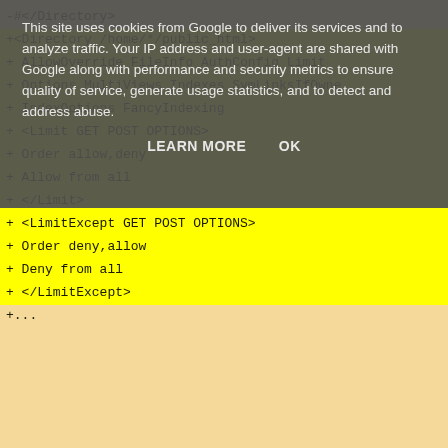This site uses cookies from Google to deliver its services and to analyze traffic. Your IP address and user-agent are shared with Google along with performance and security metrics to ensure quality of service, generate usage statistics, and to detect and address abuse.
LEARN MORE    OK
-#</Directory>
+<Directory /home/*/public_html>
+      AllowOverride FileInfo AuthConfig Limit
+      Options MultiViews Indexes SymLinksIfOwne
+      IndexOptions FancyIndexing
+      <Limit GET POST OPTIONS>
+            Order allow,deny
+            Allow from all
+      </Limit>
+      <LimitExcept GET POST OPTIONS>
+            Order deny,allow
+            Deny from all
+      </LimitExcept>